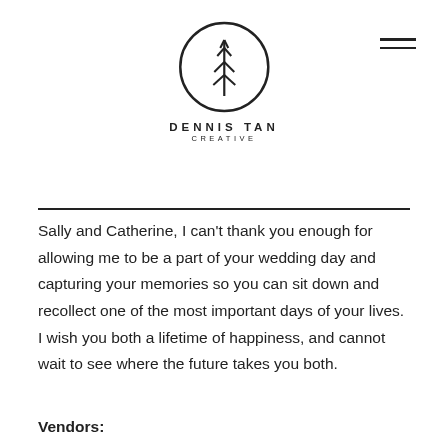[Figure (logo): Dennis Tan Creative logo: circular emblem with a stylized tree/plant branch inside, company name DENNIS TAN in spaced capitals below, CREATIVE in smaller spaced capitals beneath that.]
Sally and Catherine, I can't thank you enough for allowing me to be a part of your wedding day and capturing your memories so you can sit down and recollect one of the most important days of your lives. I wish you both a lifetime of happiness, and cannot wait to see where the future takes you both.
Vendors: